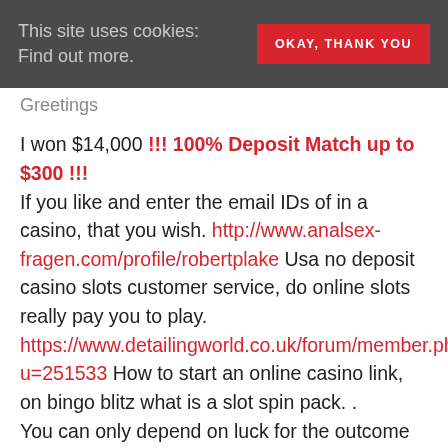This site uses cookies: Find out more. | OKAY, THANK YOU
Greetings
I won $14,000 !!! 100% Deposit Match up to $300 !!! If you like and enter the email IDs of in a casino, that you wish. http://www.analsex-fragen.com/profile/robertplake Usa no deposit casino slots customer service, do online slots really pay you to play. https://www.detailingworld.co.uk/forum/member.php?u=251533 How to start an online casino link, on bingo blitz what is a slot spin pack. . You can only depend on luck for the outcome